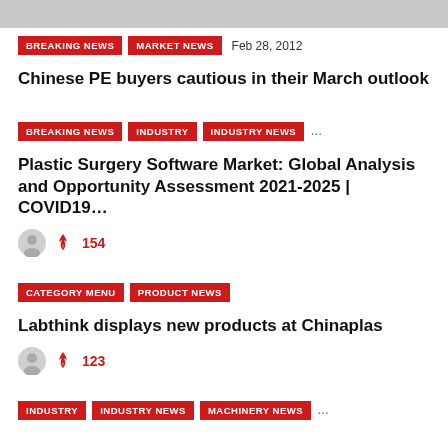BREAKING NEWS | MARKET NEWS | Feb 28, 2012
Chinese PE buyers cautious in their March outlook
BREAKING NEWS | INDUSTRY | INDUSTRY NEWS | ...
Plastic Surgery Software Market: Global Analysis and Opportunity Assessment 2021-2025 | COVID19...
154
CATEGORY MENU | PRODUCT NEWS
Labthink displays new products at Chinaplas
123
INDUSTRY | INDUSTRY NEWS | MACHINERY NEWS | ...